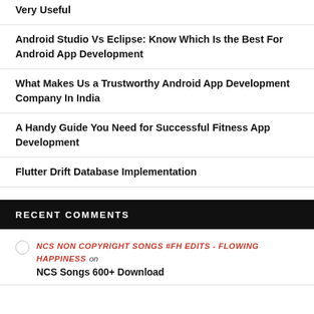5 Years of Kotlin on Android – Top Kotlin Features You Find Very Useful
Android Studio Vs Eclipse: Know Which Is the Best For Android App Development
What Makes Us a Trustworthy Android App Development Company In India
A Handy Guide You Need for Successful Fitness App Development
Flutter Drift Database Implementation
RECENT COMMENTS
NCS NON COPYRIGHT SONGS #FH EDITS - FLOWING HAPPINESS on NCS Songs 600+ Download